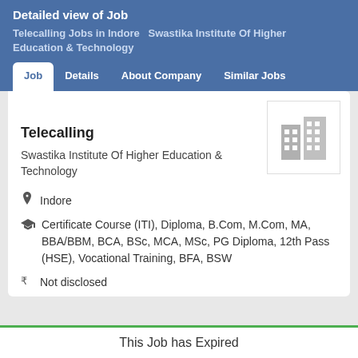Detailed view of Job
Telecalling Jobs in Indore  Swastika Institute Of Higher Education & Technology
Job  Details  About Company  Similar Jobs
Telecalling
Swastika Institute Of Higher Education & Technology
Indore
Certificate Course (ITI), Diploma, B.Com, M.Com, MA, BBA/BBM, BCA, BSc, MCA, MSc, PG Diploma, 12th Pass (HSE), Vocational Training, BFA, BSW
Not disclosed
This Job has Expired